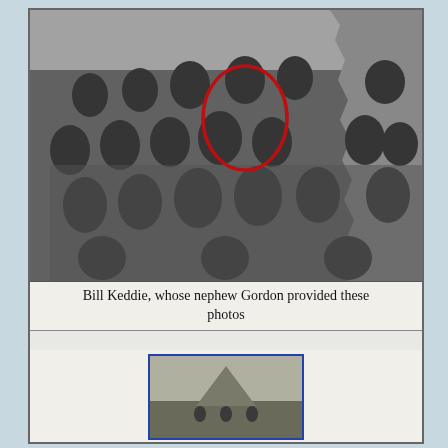[Figure (photo): Black and white group photograph of many soldiers/military personnel in uniform, posed in rows. One person in the middle-upper area is circled in red, identifying them as Bill Keddie.]
Bill Keddie, whose nephew Gordon provided these photos
[Figure (photo): Smaller black and white photograph at the bottom, partially visible, showing figures outdoors with what appears to be a pyramid or triangular structure in the background. Framed with a blue border.]